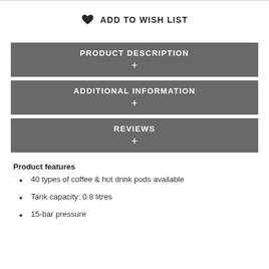ADD TO WISH LIST
PRODUCT DESCRIPTION +
ADDITIONAL INFORMATION +
REVIEWS +
Product features
40 types of coffee & hot drink pods available
Tank capacity: 0.8 litres
15-bar pressure